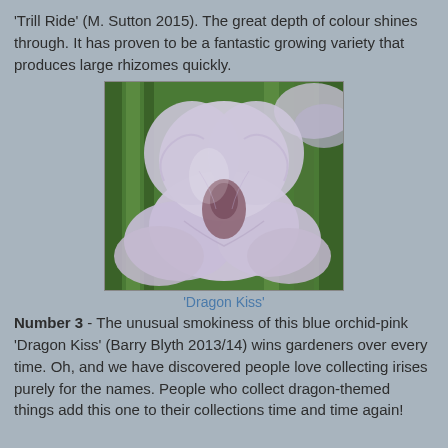'Trill Ride' (M. Sutton 2015). The great depth of colour shines through. It has proven to be a fantastic growing variety that produces large rhizomes quickly.
[Figure (photo): Close-up photograph of a pale blue-pink iris flower ('Dragon Kiss') with ruffled petals and dark markings at the center, set against a blurred green foliage background.]
'Dragon Kiss'
Number 3 - The unusual smokiness of this blue orchid-pink 'Dragon Kiss' (Barry Blyth 2013/14) wins gardeners over every time. Oh, and we have discovered people love collecting irises purely for the names. People who collect dragon-themed things add this one to their collections time and time again!